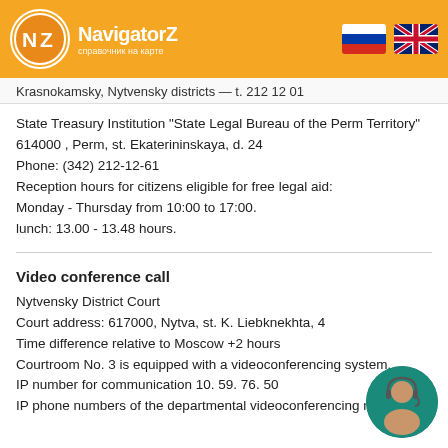NavigatorZ — справочник на карте
Krasnokamsky, Nytvensky districts — t. 212 12 01
State Treasury Institution "State Legal Bureau of the Perm Territory"
614000 , Perm, st. Ekaterininskaya, d. 24
Phone: (342) 212-12-61
Reception hours for citizens eligible for free legal aid:
Monday - Thursday from 10:00 to 17:00.
lunch: 13.00 - 13.48 hours.
Video conference call
Nytvensky District Court
Court address: 617000, Nytva, st. K. Liebknekhta, 4
Time difference relative to Moscow +2 hours
Courtroom No. 3 is equipped with a videoconferencing system.
IP number for communication 10. 59. 76. 50
IP phone numbers of the departmental videoconferencing network: